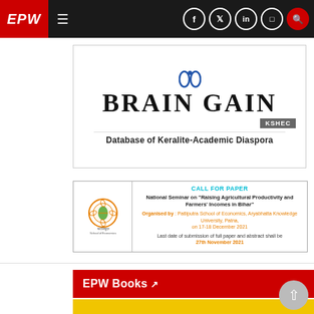EPW
[Figure (infographic): Brain Gain banner — Database of Keralite-Academic Diaspora, with KSHEC badge and laurel wreath icon]
[Figure (infographic): Call for Paper box: National Seminar on 'Raising Agricultural Productivity and Farmers' Incomes in Bihar', organised by Patliputra School of Economics, Aryabhatta Knowledge University, Patna, on 17-18 December 2021. Last date of submission of full paper and abstract shall be 27th November 2021. Institution logo on left.]
EPW Books ↗
[Figure (photo): Cover of EPW book titled READING, published by Orient BlackSwan, on a yellow background]